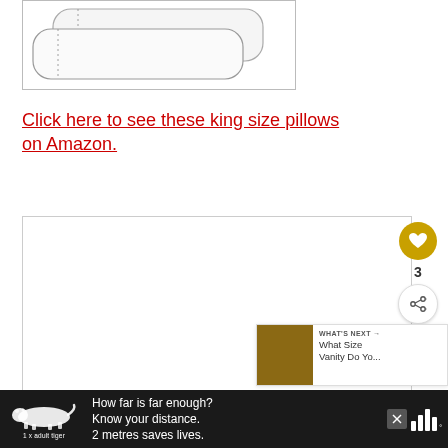[Figure (photo): Two white king size pillows stacked, with a light gray border around the image]
Click here to see these king size pillows on Amazon.
[Figure (photo): White empty image area, partially visible second product image]
[Figure (infographic): Social engagement UI: heart/like button (gold circle), count of 3, share button]
[Figure (screenshot): What's Next panel with thumbnail image, label 'WHAT'S NEXT →', and text 'What Size Vanity Do Yo...']
[Figure (infographic): Ad banner on dark background: tiger illustration, text 'How far is far enough? Know your distance. 2 metres saves lives.' with 1 x adult tiger label, close button, and brand logo]